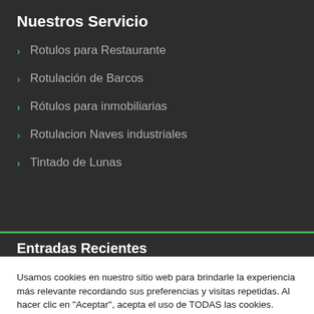Nuestros Servicio
Rotulos para Restaurante
Rotulación de Barcos
Rótulos para inmobiliarias
Rotulacion Naves industriales
Tintado de Lunas
Entradas Recientes
Usamos cookies en nuestro sitio web para brindarle la experiencia más relevante recordando sus preferencias y visitas repetidas. Al hacer clic en "Aceptar", acepta el uso de TODAS las cookies.
Cookie settings   ACCEPT